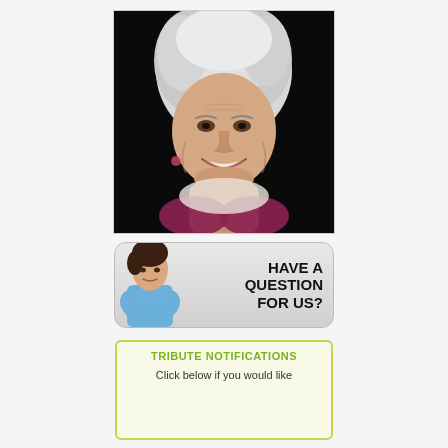[Figure (photo): Portrait photo of an elderly woman with white hair, smiling, against a dark background. She is wearing a floral top and appears cheerful.]
[Figure (infographic): A rounded rectangular banner with a gradient grey background featuring a young woman in a blue shirt with arms crossed on the left, and bold text on the right reading: HAVE A QUESTION FOR US?]
TRIBUTE NOTIFICATIONS
Click below if you would like